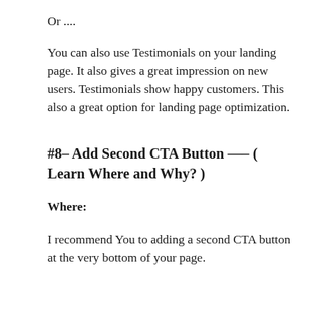Or ....
You can also use Testimonials on your landing page. It also gives a great impression on new users. Testimonials show happy customers. This also a great option for landing page optimization.
#8– Add Second CTA Button —– ( Learn Where and Why? )
Where:
I recommend You to adding a second CTA button at the very bottom of your page.